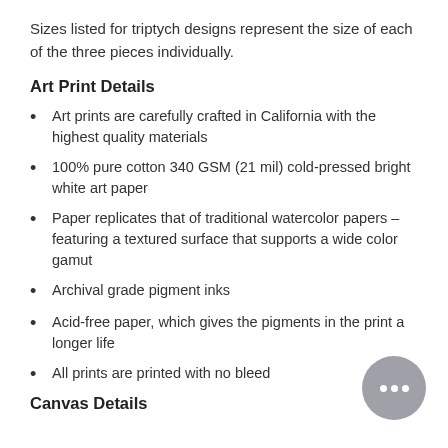Sizes listed for triptych designs represent the size of each of the three pieces individually.
Art Print Details
Art prints are carefully crafted in California with the highest quality materials
100% pure cotton 340 GSM (21 mil) cold-pressed bright white art paper
Paper replicates that of traditional watercolor papers – featuring a textured surface that supports a wide color gamut
Archival grade pigment inks
Acid-free paper, which gives the pigments in the print a longer life
All prints are printed with no bleed
Canvas Details